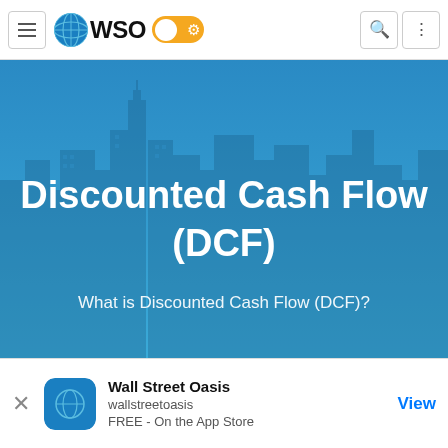WSO Wall Street Oasis navigation bar
[Figure (screenshot): WSO (Wall Street Oasis) website hero banner showing city skyline with blue overlay. Large bold title 'Discounted Cash Flow (DCF)' and subtitle 'What is Discounted Cash Flow (DCF)?']
Discounted Cash Flow (DCF)
What is Discounted Cash Flow (DCF)?
Wall Street Oasis
wallstreetoasis
FREE - On the App Store
View